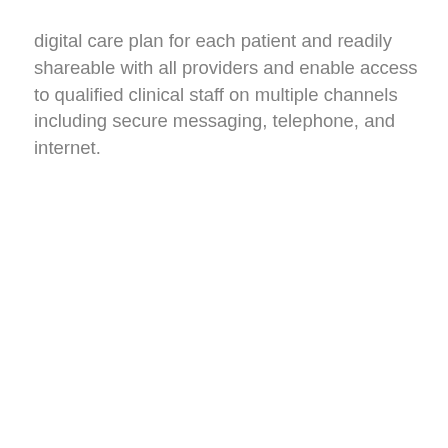digital care plan for each patient and readily shareable with all providers and enable access to qualified clinical staff on multiple channels including secure messaging, telephone, and internet.